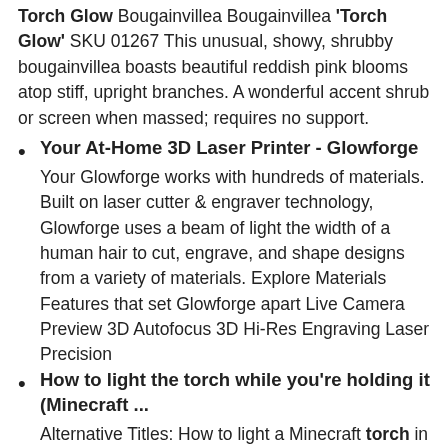Torch Glow Bougainvillea Bougainvillea 'Torch Glow' SKU 01267 This unusual, showy, shrubby bougainvillea boasts beautiful reddish pink blooms atop stiff, upright branches. A wonderful accent shrub or screen when massed; requires no support.
Your At-Home 3D Laser Printer - Glowforge
Your Glowforge works with hundreds of materials. Built on laser cutter & engraver technology, Glowforge uses a beam of light the width of a human hair to cut, engrave, and shape designs from a variety of materials. Explore Materials Features that set Glowforge apart Live Camera Preview 3D Autofocus 3D Hi-Res Engraving Laser Precision
How to light the torch while you're holding it (Minecraft ...
Alternative Titles: How to light a Minecraft torch in your hand. How to turn ON the Dynamic Light in